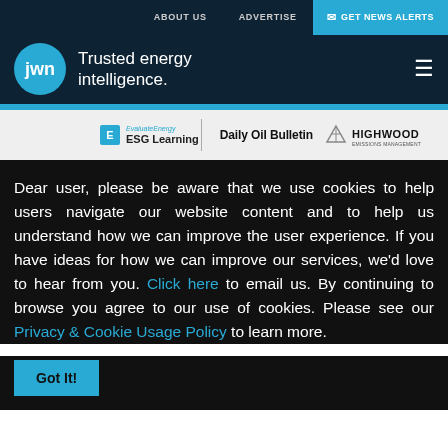ABOUT US   ADVERTISE   GET NEWS ALERTS
[Figure (logo): JWN logo — blue circle with 'jwn' text, followed by 'Trusted energy intelligence.' tagline]
[Figure (logo): Sub-brand logos: EvaluateEnergy ESG Learning, Daily Oil Bulletin, Highwood Emissions Management]
Dear user, please be aware that we use cookies to help users navigate our website content and to help us understand how we can improve the user experience. If you have ideas for how we can improve our services, we'd love to hear from you. Click here to email us. By continuing to browse you agree to our use of cookies. Please see our Privacy & Cookie Usage Policy to learn more.
Got It!